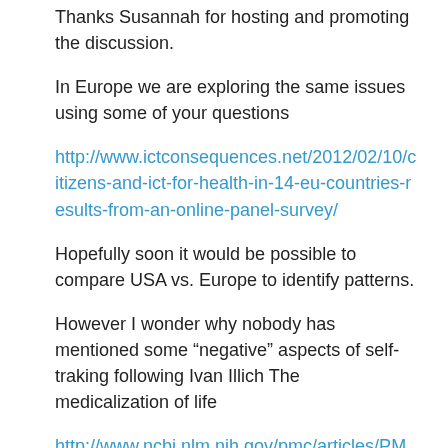Thanks Susannah for hosting and promoting the discussion.
In Europe we are exploring the same issues using some of your questions
http://www.ictconsequences.net/2012/02/10/citizens-and-ict-for-health-in-14-eu-countries-results-from-an-online-panel-survey/
Hopefully soon it would be possible to compare USA vs. Europe to identify patterns.
However I wonder why nobody has mentioned some “negative” aspects of self-traking following Ivan Illich The medicalization of life
http://www.ncbi.nlm.nih.gov/pmc/articles/PMC1154458/
are we also moving to the medicalization of the Internet daily life?